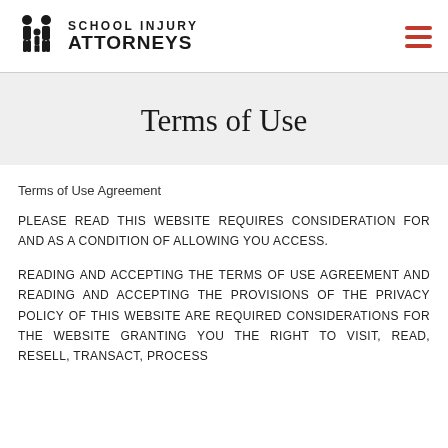SCHOOL INJURY ATTORNEYS
Terms of Use
Terms of Use Agreement
PLEASE READ THIS WEBSITE REQUIRES CONSIDERATION FOR AND AS A CONDITION OF ALLOWING YOU ACCESS.
READING AND ACCEPTING THE TERMS OF USE AGREEMENT AND READING AND ACCEPTING THE PROVISIONS OF THE PRIVACY POLICY OF THIS WEBSITE ARE REQUIRED CONSIDERATIONS FOR THE WEBSITE GRANTING YOU THE RIGHT TO VISIT, READ, RESELL, TRANSACT, PROCESS